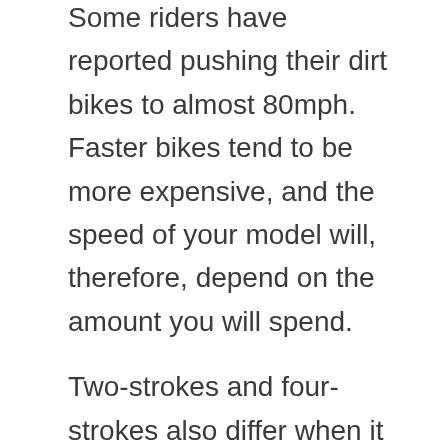Some riders have reported pushing their dirt bikes to almost 80mph. Faster bikes tend to be more expensive, and the speed of your model will, therefore, depend on the amount you will spend.
Two-strokes and four-strokes also differ when it comes to speed, and the latter have typical speeds of between 35 to 55mph. Two-stroke bikes are generally faster, and some riders have reported that their models can reach speeds of 100 mph.
Typically, a two-stroke bike will have higher speeds in comparison to a four-stroke of similar cc. Keep in mind that two-strokes are not designed for long trails, and they will only go so fast until the engine stalls.